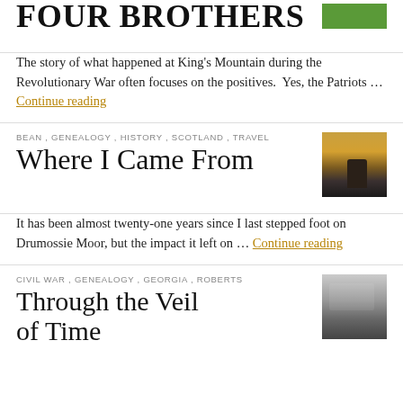Four Brothers
The story of what happened at King's Mountain during the Revolutionary War often focuses on the positives.  Yes, the Patriots … Continue reading
BEAN , GENEALOGY , HISTORY , SCOTLAND , TRAVEL
Where I Came From
It has been almost twenty-one years since I last stepped foot on Drumossie Moor, but the impact it left on … Continue reading
CIVIL WAR , GENEALOGY , GEORGIA , ROBERTS
Through the Veil of Time